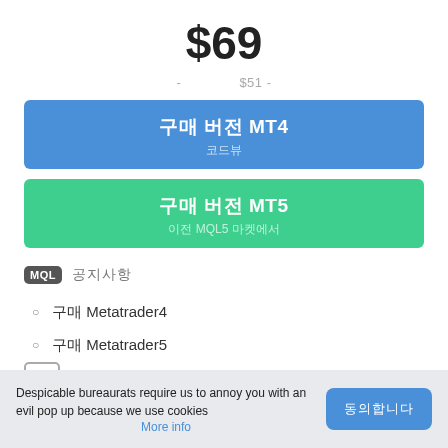$69
- 　　　　$51 -
구매 버전 MT4 — 코드뷰
구매 버전 MT5 — 이전 MQL5 마켓에서
MQL 리뷰　　공지사항
구매 Metatrader4
구매 Metatrader5
설명
Despicable bureaurats require us to annoy you with an evil pop up because we use cookies  More info